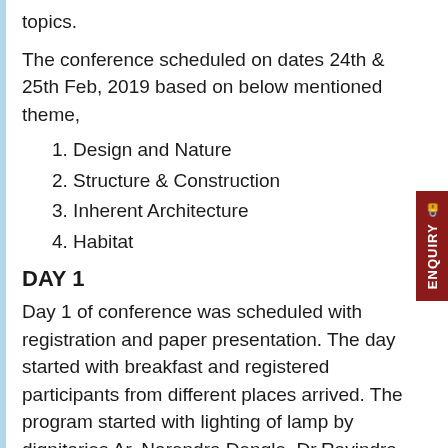topics.
The conference scheduled on dates 24th & 25th Feb, 2019 based on below mentioned theme,
1. Design and Nature
2. Structure & Construction
3. Inherent Architecture
4. Habitat
DAY 1
Day 1 of conference was scheduled with registration and paper presentation. The day started with breakfast and registered participants from different places arrived. The program started with lighting of lamp by dignitaries Ar. Narendra Dengle, Dr.Ravindra